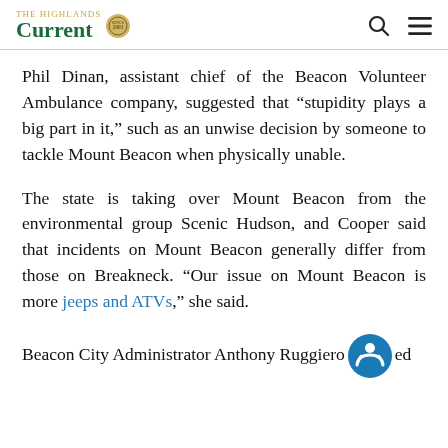The Highlands Current
Phil Dinan, assistant chief of the Beacon Volunteer Ambulance company, suggested that “stupidity plays a big part in it,” such as an unwise decision by someone to tackle Mount Beacon when physically unable.
The state is taking over Mount Beacon from the environmental group Scenic Hudson, and Cooper said that incidents on Mount Beacon generally differ from those on Breakneck. “Our issue on Mount Beacon is more jeeps and ATVs,” she said.
Beacon City Administrator Anthony Ruggiero…ed